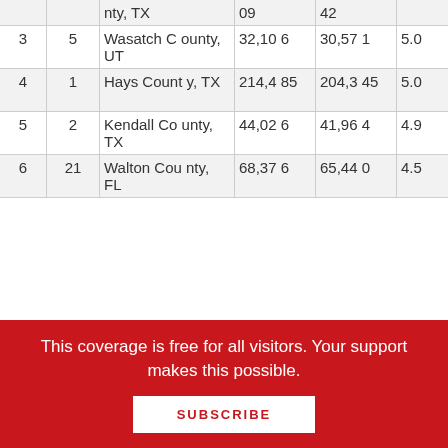| Rank | Prior Rank | County | Population | Estimate | Growth % | Change |
| --- | --- | --- | --- | --- | --- | --- |
|  |  | nty, TX | 09 | 42 |  |  |
| 3 | 5 | Wasatch County, UT | 32,106 | 30,571 | 5.0 | 1,535 |
| 4 | 1 | Hays County, TX | 214,485 | 204,345 | 5.0 | 10,140 |
| 5 | 2 | Kendall County, TX | 44,026 | 41,964 | 4.9 | 2,062 |
| 6 | 21 | Walton County, FL | 68,376 | 65,440 | 4.5 | 2,936 |
This coverage is free for all visitors. Your support makes this possible.